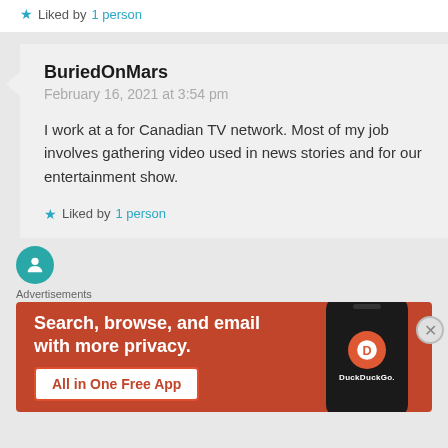Liked by 1 person
BuriedOnMars
February 16, 2021 at 3:54 pm

I work at a for Canadian TV network. Most of my job involves gathering video used in news stories and for our entertainment show.
Liked by 1 person
[Figure (infographic): DuckDuckGo advertisement banner with orange/red background. Text reads: Search, browse, and email with more privacy. All in One Free App. Shows a smartphone with DuckDuckGo logo.]